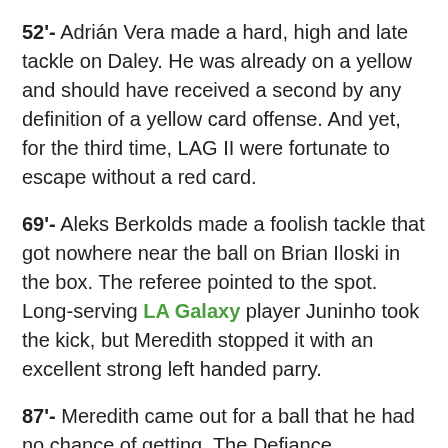52'- Adrián Vera made a hard, high and late tackle on Daley. He was already on a yellow and should have received a second by any definition of a yellow card offense. And yet, for the third time, LAG II were fortunate to escape without a red card.
69'- Aleks Berkolds made a foolish tackle that got nowhere near the ball on Brian Iloski in the box. The referee pointed to the spot. Long-serving LA Galaxy player Juninho took the kick, but Meredith stopped it with an excellent strong left handed parry.
87'- Meredith came out for a ball that he had no chance of getting. The Defiance defenders had vacated the area when they got the call from Meredith, clearing the way for LAG II's Frank Lopez, who easily headed the ball over Meredith to cut the Defiance lead